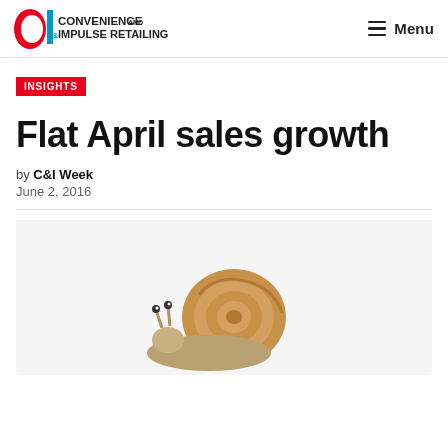Ci Convenience and Impulse Retailing | Menu
INSIGHTS
Flat April sales growth
by C&I Week
June 2, 2016
[Figure (photo): A snail on a white background, illustrating flat/slow growth theme]